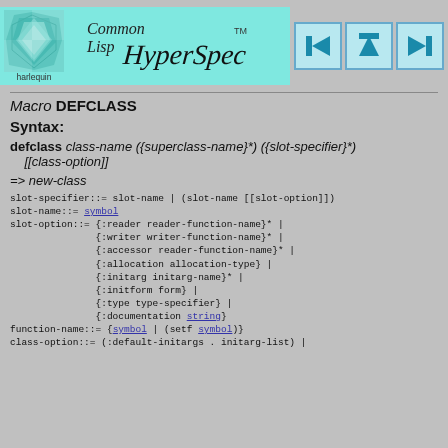[Figure (logo): Common Lisp HyperSpec logo with Harlequin branding and navigation arrows]
Macro DEFCLASS
Syntax:
defclass class-name ({superclass-name}*) ({slot-specifier}*) [[class-option]]
=> new-class
slot-specifier::= slot-name | (slot-name [[slot-option]])
slot-name::= symbol
slot-option::= {:reader reader-function-name}* |
               {:writer writer-function-name}* |
               {:accessor reader-function-name}* |
               {:allocation allocation-type} |
               {:initarg initarg-name}* |
               {:initform form} |
               {:type type-specifier} |
               {:documentation string}
function-name::= {symbol | (setf symbol)}
class-option::= (:default-initargs . initarg-list) |